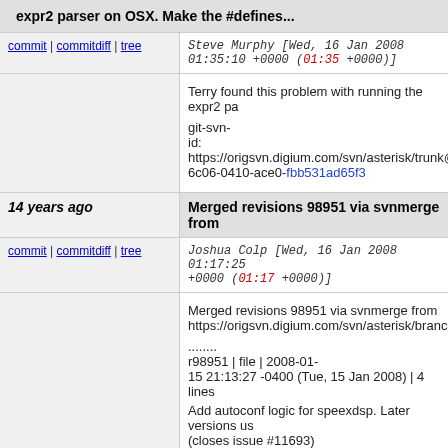expr2 parser on OSX. Make the #defines...
commit | commitdiff | tree   Steve Murphy [Wed, 16 Jan 2008 01:35:10 +0000 (01:35 +0000)]
Terry found this problem with running the expr2 pa
git-svn-id: https://origsvn.digium.com/svn/asterisk/trunk@6c06-0410-ace0-fbb531ad65f3
14 years ago   Merged revisions 98951 via svnmerge from
commit | commitdiff | tree   Joshua Colp [Wed, 16 Jan 2008 01:17:25 +0000 (01:17 +0000)]
Merged revisions 98951 via svnmerge from https://origsvn.digium.com/svn/asterisk/branches/1
........
r98951 | file | 2008-01-15 21:13:27 -0400 (Tue, 15 Jan 2008) | 4 lines

Add autoconf logic for speexdsp. Later versions us (closes issue #11693)
Reported by: yzg

........

git-svn